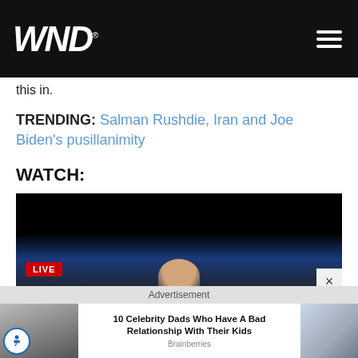WND
this in.
TRENDING: Salman Rushdie, Iran and Joe Biden's pusillanimity
WATCH:
[Figure (screenshot): Video player with dark background showing LIVE badge in red, a figure silhouette at bottom center, blue studio lighting; a close/dismiss button (×) in lower right corner.]
Advertisement
10 Celebrity Dads Who Have A Bad Relationship With Their Kids
Brainberries